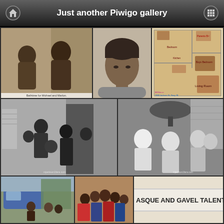Just another Piwigo gallery
[Figure (photo): Sepia-toned vintage photo of two young children — Bathtime for Michael and Marlon]
[Figure (photo): Black and white portrait photo of a young person with stylized hair]
[Figure (photo): 3D floor plan illustration of 2300 Jackson St, Gary, IN showing rooms including Parents Bedroom, Boys Bedroom, Living Room, Kitchen]
[Figure (photo): Black and white photo of a group of children posing together]
[Figure (photo): Black and white photo of children gathered around a lamp]
[Figure (photo): Color photo of children outdoors near a vehicle]
[Figure (photo): Color photo of a group of children indoors]
[Figure (photo): Sign reading MASQUE AND GAVEL TALENT]